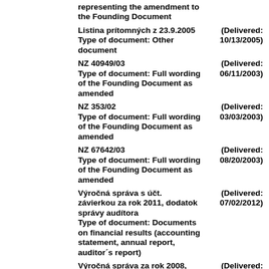representing the amendment to the Founding Document
Listina prítomných z 23.9.2005
Type of document: Other document
(Delivered: 10/13/2005)
NZ 40949/03
Type of document: Full wording of the Founding Document as amended
(Delivered: 06/11/2003)
NZ 353/02
Type of document: Full wording of the Founding Document as amended
(Delivered: 03/03/2003)
NZ 67642/03
Type of document: Full wording of the Founding Document as amended
(Delivered: 08/20/2003)
Výročná správa s účt. závierkou za rok 2011, dodatok správy audítora
Type of document: Documents on financial results (accounting statement, annual report, auditor´s report)
(Delivered: 07/02/2012)
Výročná správa za rok 2008, účtovná závierka 2008, správa audítora, konsolidovaná účtovná
(Delivered: 06/30/2009)